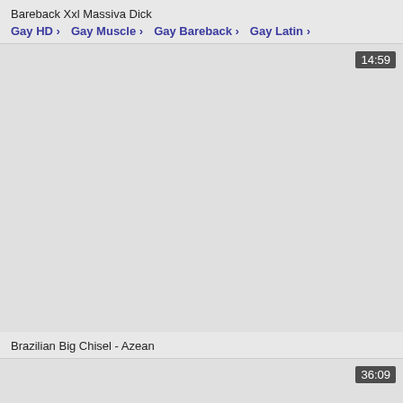Bareback Xxl Massiva Dick
Gay HD › Gay Muscle › Gay Bareback › Gay Latin ›
[Figure (screenshot): Video thumbnail placeholder, light gray background with duration badge showing 14:59 in top right corner]
Brazilian Big Chisel - Azean
[Figure (screenshot): Video thumbnail placeholder, light gray background with duration badge showing 36:09 in top right corner]